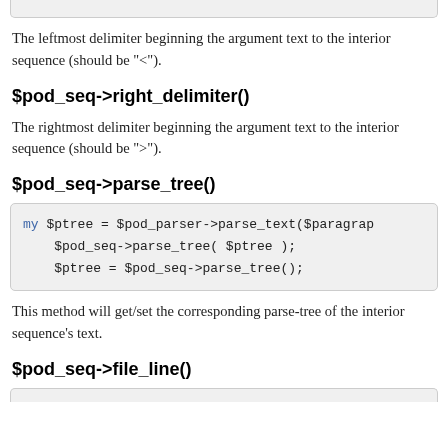The leftmost delimiter beginning the argument text to the interior sequence (should be "<").
$pod_seq->right_delimiter()
The rightmost delimiter beginning the argument text to the interior sequence (should be ">").
$pod_seq->parse_tree()
[Figure (screenshot): Code block showing: my $ptree = $pod_parser->parse_text($paragrap
$pod_seq->parse_tree( $ptree );
$ptree = $pod_seq->parse_tree();]
This method will get/set the corresponding parse-tree of the interior sequence's text.
$pod_seq->file_line()